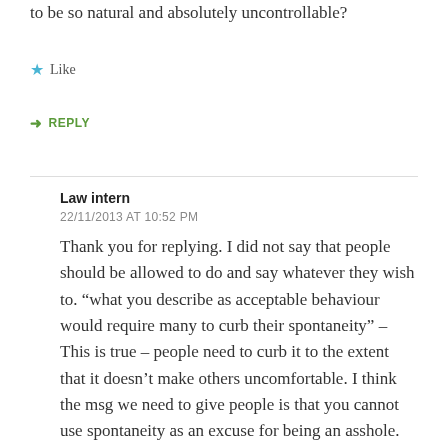to be so natural and absolutely uncontrollable?
Like
REPLY
Law intern
22/11/2013 AT 10:52 PM
Thank you for replying. I did not say that people should be allowed to do and say whatever they wish to. “what you describe as acceptable behaviour would require many to curb their spontaneity” – This is true – people need to curb it to the extent that it doesn’t make others uncomfortable. I think the msg we need to give people is that you cannot use spontaneity as an excuse for being an asshole. You can be spontaneous without being sexist and predatory, that is how most people are, and you